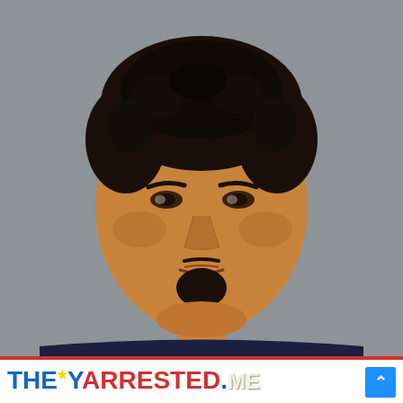[Figure (photo): Mugshot photograph of a middle-aged Hispanic male with dark curly hair, goatee beard, wearing a dark navy blue shirt, against a grey background]
THEYARRESTED.ME